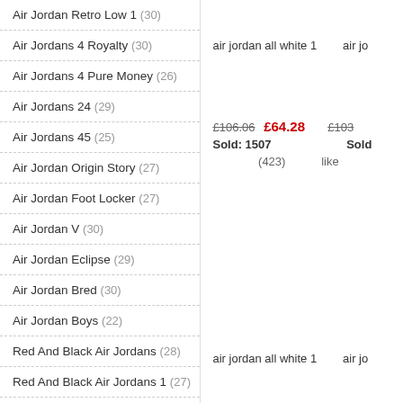Air Jordan Retro Low 1 (30)
Air Jordans 4 Royalty (30)
Air Jordans 4 Pure Money (26)
Air Jordans 24 (29)
Air Jordans 45 (25)
Air Jordan Origin Story (27)
Air Jordan Foot Locker (27)
Air Jordan V (30)
Air Jordan Eclipse (29)
Air Jordan Bred (30)
Air Jordan Boys (22)
Red And Black Air Jordans (28)
Red And Black Air Jordans 1 (27)
Black Air Jordan 1 Mid (29)
1985 Air Jordan 1 (22)
air jordan all white 1   air jo
£106.06  £64.28   £103
Sold: 1507   Sold
(423)   like
air jordan all white 1   air jo